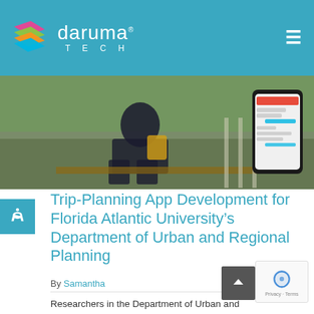daruma TECH
[Figure (photo): A person sitting outdoors on a bench using a mobile device, with a smartphone screen showing a chat/messaging app visible on the right side of the image.]
Trip-Planning App Development for Florida Atlantic University's Department of Urban and Regional Planning
By Samantha
Researchers in the Department of Urban and Regional Planning at Florida Atlantic University